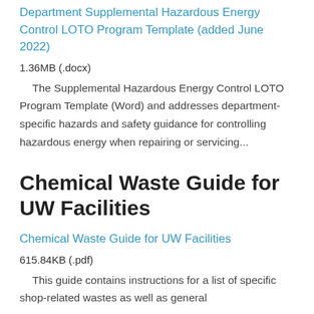Department Supplemental Hazardous Energy Control LOTO Program Template (added June 2022)
1.36MB (.docx)
The Supplemental Hazardous Energy Control LOTO Program Template (Word) and addresses department-specific hazards and safety guidance for controlling hazardous energy when repairing or servicing...
Chemical Waste Guide for UW Facilities
Chemical Waste Guide for UW Facilities
615.84KB (.pdf)
This guide contains instructions for a list of specific shop-related wastes as well as general